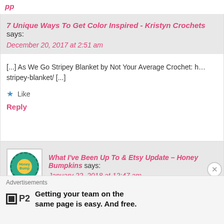pp…
7 Unique Ways To Get Color Inspired - Kristyn Crochets says:
December 20, 2017 at 2:51 am
[...] As We Go Stripey Blanket by Not Your Average Crochet: h… stripey-blanket/ [...]
Like
Reply
What I've Been Up To & Etsy Update – Honey Bumpkins says:
January 22, 2018 at 12:47 am
[...] blanket by Not Your Average Crochet. It is also written wo… It is a great way to use up some leftover yarn! The other t…
Advertisements
Getting your team on the same page is easy. And free.